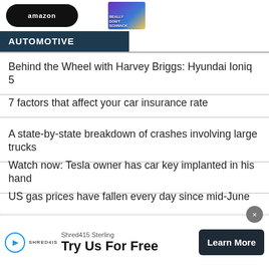[Figure (illustration): Amazon button and book cover image at top of page]
AUTOMOTIVE
Behind the Wheel with Harvey Briggs: Hyundai Ioniq 5
7 factors that affect your car insurance rate
A state-by-state breakdown of crashes involving large trucks
Watch now: Tesla owner has car key implanted in his hand
US gas prices have fallen every day since mid-June
By clicking “Accept All Cookies”, you agree to the storing of cookies on your device to enhance site navigation, analyze site usage, and assist in our marketing efforts.
Shred415 Sterling
Try Us For Free
Learn More